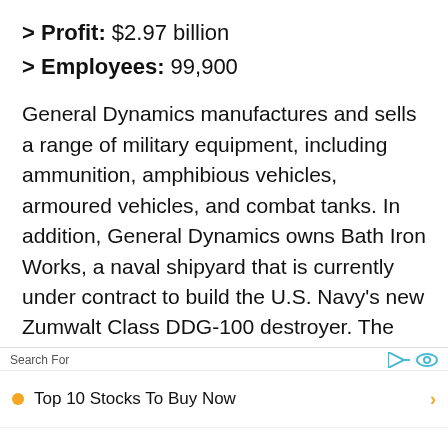> Profit: $2.97 billion
> Employees: 99,900
General Dynamics manufactures and sells a range of military equipment, including ammunition, amphibious vehicles, armoured vehicles, and combat tanks. In addition, General Dynamics owns Bath Iron Works, a naval shipyard that is currently under contract to build the U.S. Navy's new Zumwalt Class DDG-100 destroyer. The ship
Search For | Top 10 Stocks To Buy Now | Top 10 Dividend Stocks